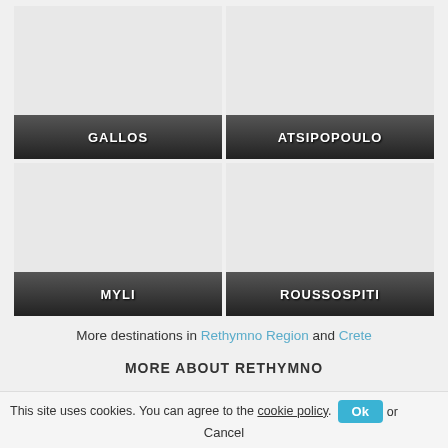[Figure (screenshot): 2x2 grid of destination tiles: GALLOS (top-left), ATSIPOPOULO (top-right), MYLI (bottom-left), ROUSSOSPITI (bottom-right). Each tile is a grey placeholder image with a dark gradient label bar at bottom showing the destination name in white bold capital letters.]
More destinations in Rethymno Region and Crete
MORE ABOUT RETHYMNO
This site uses cookies. You can agree to the cookie policy. Ok or Cancel